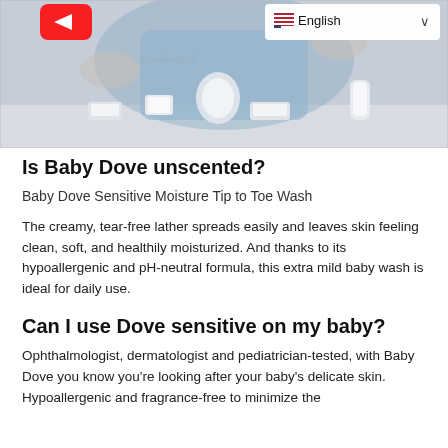[Figure (photo): Screenshot of a YouTube video showing a woman in a blue denim shirt sitting at a table with Baby Dove products (soap bars, bottles, tubes). A language selector overlay showing 'English' with a US flag and dropdown chevron is visible in the top-right corner.]
Is Baby Dove unscented?
Baby Dove Sensitive Moisture Tip to Toe Wash
The creamy, tear-free lather spreads easily and leaves skin feeling clean, soft, and healthily moisturized. And thanks to its hypoallergenic and pH-neutral formula, this extra mild baby wash is ideal for daily use.
Can I use Dove sensitive on my baby?
Ophthalmologist, dermatologist and pediatrician-tested, with Baby Dove you know you're looking after your baby's delicate skin. Hypoallergenic and fragrance-free to minimize the